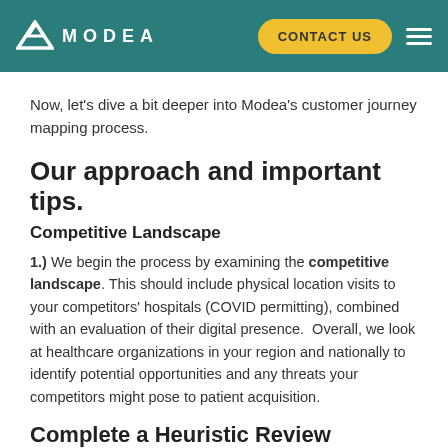MODEA | CONTACT US
Now, let's dive a bit deeper into Modea's customer journey mapping process.
Our approach and important tips.
Competitive Landscape
1.) We begin the process by examining the competitive landscape. This should include physical location visits to your competitors' hospitals (COVID permitting), combined with an evaluation of their digital presence. Overall, we look at healthcare organizations in your region and nationally to identify potential opportunities and any threats your competitors might pose to patient acquisition.
Complete a Heuristic Review